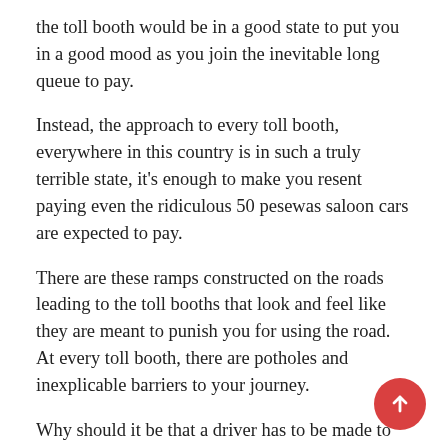the toll booth would be in a good state to put you in a good mood as you join the inevitable long queue to pay.
Instead, the approach to every toll booth, everywhere in this country is in such a truly terrible state, it's enough to make you resent paying even the ridiculous 50 pesewas saloon cars are expected to pay.
There are these ramps constructed on the roads leading to the toll booths that look and feel like they are meant to punish you for using the road. At every toll booth, there are potholes and inexplicable barriers to your journey.
Why should it be that a driver has to be made to suffer to pay money? I would have thought that the toll booths would be the sites with the most attractive environment on the roads.